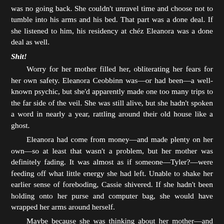was no going back. She couldn't unravel time and choose not to tumble into his arms and his bed. That part was a done deal. If she listened to him, his residency at chéz Eleanora was a done deal as well.
Shit!
Worry for her mother filled her, obliterating her fears for her own safety. Eleanora Ceobbinn was—or had been—a well-known psychic, but she'd apparently made one too many trips to the far side of the veil. She was still alive, but she hadn't spoken a word in nearly a year, rattling around their old house like a ghost.
Eleanora had come from money—and made plenty on her own—so at least that wasn't a problem, but her mother was definitely fading. It was almost as if someone—Tyler?—were feeding off what little energy she had left. Unable to shake her earlier sense of foreboding, Cassie shivered. If she hadn't been holding onto her purse and computer bag, she would have wrapped her arms around herself.
Maybe because she was thinking about her mother—and the house had a mind of its own—she wasn't surprised to find herself beneath a full-sized oil painting of Eleanora. Lush dark hair ended at knee level and her haunting violet eyes seemed alive. People had told Cassie she looked like her mom, but she'd never thought